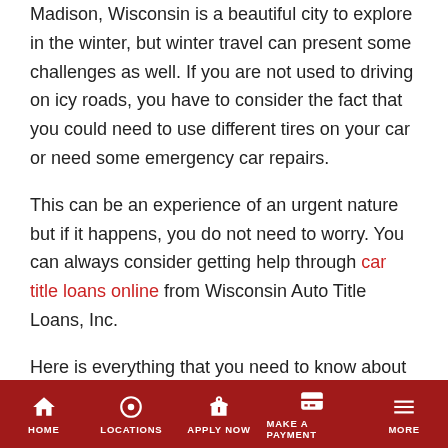Madison, Wisconsin is a beautiful city to explore in the winter, but winter travel can present some challenges as well. If you are not used to driving on icy roads, you have to consider the fact that you could need to use different tires on your car or need some emergency car repairs.
This can be an experience of an urgent nature but if it happens, you do not need to worry. You can always consider getting help through car title loans online from Wisconsin Auto Title Loans, Inc.
Here is everything that you need to know about getting help in the form of online car title loans.
Benefits Of Getting Car Title Loans Online
There are several advantages that come with getting car title
HOME | LOCATIONS | APPLY NOW | MAKE A PAYMENT | MORE